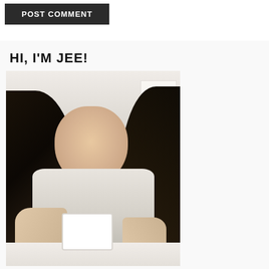[Figure (other): A dark charcoal/black button labeled POST COMMENT in white uppercase bold text]
HI, I'M JEE!
[Figure (photo): Portrait photo of a smiling Asian woman with long dark hair, wearing a cream/beige top, seated at a table holding a white mug. Light airy background with white furniture.]